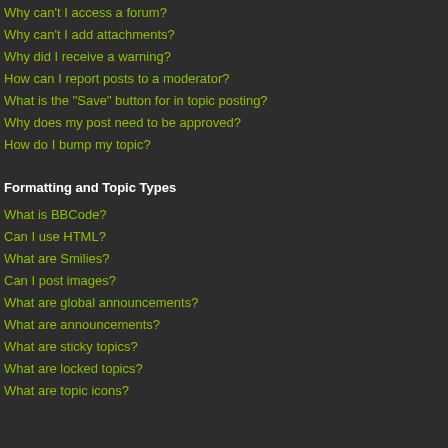Why can't I access a forum?
Why can't I add attachments?
Why did I receive a warning?
How can I report posts to a moderator?
What is the "Save" button for in topic posting?
Why does my post need to be approved?
How do I bump my topic?
Formatting and Topic Types
What is BBCode?
Can I use HTML?
What are Smilies?
Can I post images?
What are global announcements?
What are announcements?
What are sticky topics?
What are locked topics?
What are topic icons?
What is the d...
How do I sub...
How do I rem...
Attachments
What attachm...
How do I find ...
phpBB 3 Iss...
Who wrote th...
Why isn't X fe...
Who do I con...
this board?
Login and Registration Issues
Why can't I login?
There are several reasons why this could occur. First, ensure your userna... contact the board owner to make sure you haven't been banned. It is als... configuration error on their end, and they would need to fix it.
Top